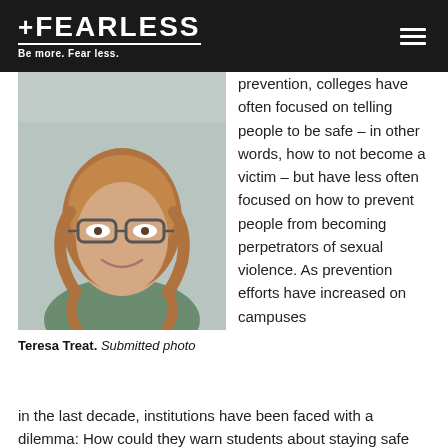FEARLESS — Be more. Fear less.
[Figure (photo): Headshot of Teresa Treat, a woman with curly reddish-brown hair and glasses, wearing a green top, smiling at the camera.]
Teresa Treat. Submitted photo
prevention, colleges have often focused on telling people to be safe – in other words, how to not become a victim – but have less often focused on how to prevent people from becoming perpetrators of sexual violence. As prevention efforts have increased on campuses in the last decade, institutions have been faced with a dilemma: How could they warn students about staying safe without sounding like they're blaming the victim? (Check
in the last decade, institutions have been faced with a dilemma: How could they warn students about staying safe without sounding like they're blaming the victim? (Check